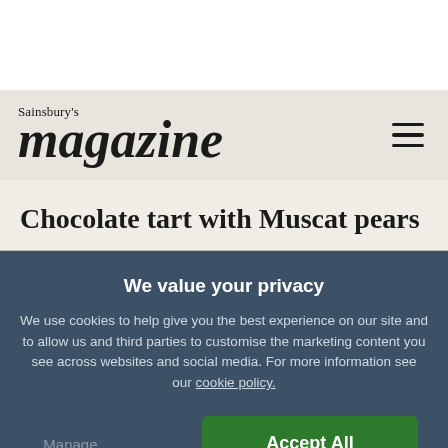[Figure (logo): Sainsbury's Magazine logo with hamburger menu icon on grey/beige header bar]
Chocolate tart with Muscat pears
We value your privacy
We use cookies to help give you the best experience on our site and to allow us and third parties to customise the marketing content you see across websites and social media. For more information see our cookie policy.
Manage Preferences
Accept All Cookies